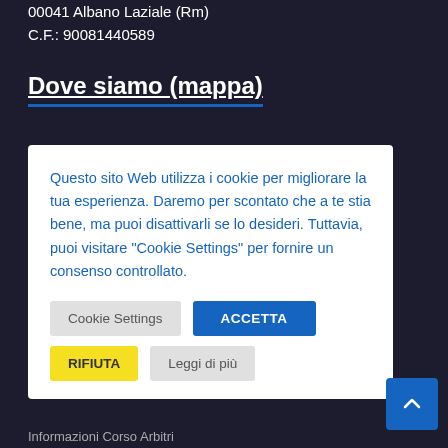00041 Albano Laziale (Rm)
C.F.: 90081440589
Dove siamo (mappa)
Questo sito Web utilizza i cookie per migliorare la tua esperienza. Daremo per scontato che a te stia bene, ma puoi disattivarli se lo desideri. Tuttavia, puoi visitare "Cookie Settings" per fornire un consenso controllato.
Cookie Settings | ACCETTA | RIFIUTA | Leggi di più
Informazioni Corso Arbitri